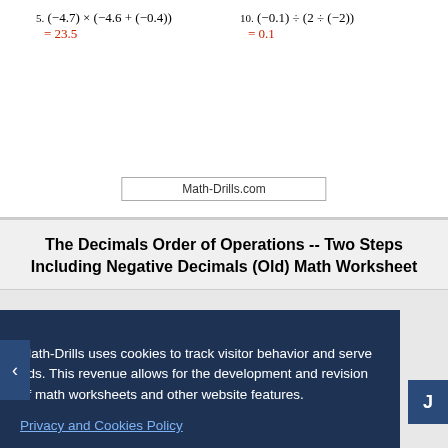5. (−4.7) × (−4.6 + (−0.4)) = 23.5
10. (−0.1) ÷ (2 ÷ (−2)) = 0.1
Math-Drills.com
The Decimals Order of Operations -- Two Steps Including Negative Decimals (Old) Math Worksheet
Math-Drills uses cookies to track visitor behavior and serve ads. This revenue allows for the development and revision of math worksheets and other website features.
Privacy and Cookies Policy
Decline | Allow All Cookies